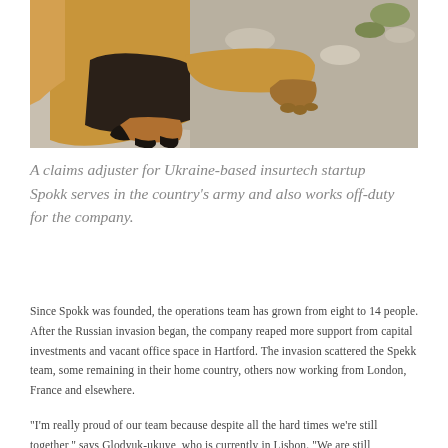[Figure (photo): Close-up photo of a dog lying on rocky ground, showing its legs and paws with brown and black fur. The dog appears to be resting on gravel and small stones.]
A claims adjuster for Ukraine-based insurtech startup Spokk serves in the country's army and also works off-duty for the company.
Since Spokk was founded, the operations team has grown from eight to 14 people. After the Russian invasion began, the company reaped more support from capital investments and vacant office space in Hartford. The invasion scattered the Spekk team, some remaining in their home country, others now working from London, France and elsewhere.
"I'm really proud of our team because despite all the hard times we're still together," says Glodyuk-ukuye, who is currently in Lisbon. "We are still